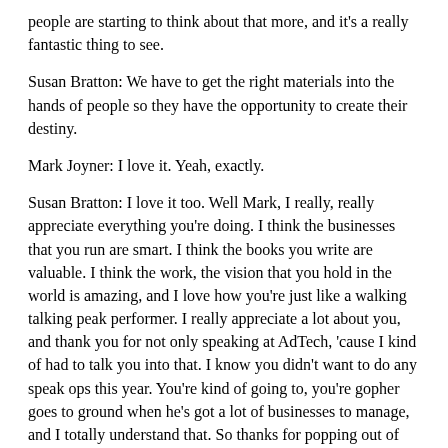people are starting to think about that more, and it's a really fantastic thing to see.
Susan Bratton: We have to get the right materials into the hands of people so they have the opportunity to create their destiny.
Mark Joyner: I love it. Yeah, exactly.
Susan Bratton: I love it too. Well Mark, I really, really appreciate everything you're doing. I think the businesses that you run are smart. I think the books you write are valuable. I think the work, the vision that you hold in the world is amazing, and I love how you're just like a walking talking peak performer. I really appreciate a lot about you, and thank you for not only speaking at AdTech, 'cause I kind of had to talk you into that. I know you didn't want to do any speak ops this year. You're kind of going to, you're gopher goes to ground when he's got a lot of businesses to manage, and I totally understand that. So thanks for popping out of your gopher hole for AdTech and for DishyMix. I appreciate that very much. I'm glad that I had the opportunity to create two places that you could share who you are in the world because who you are in the world is a super great awesome thing.
Mark Joyner: Thank you. Right back at you. And for everybody listening, listen, I'll tell you what, Susan Bratton is a, she is a